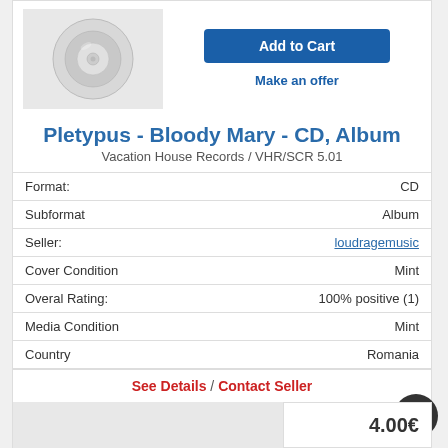[Figure (photo): CD disc image on light gray background]
Add to Cart
Make an offer
Pletypus - Bloody Mary - CD, Album
Vacation House Records / VHR/SCR 5.01
| Format: | CD |
| Subformat | Album |
| Seller: | loudragemusic |
| Cover Condition | Mint |
| Overal Rating: | 100% positive (1) |
| Media Condition | Mint |
| Country | Romania |
See Details / Contact Seller
Add to Wish List   Viewed: 25